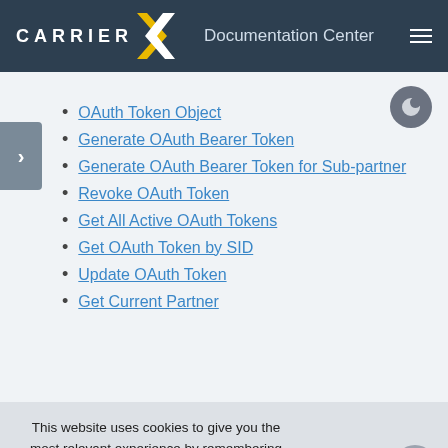CARRIER X   Documentation Center
OAuth Token Object
Generate OAuth Bearer Token
Generate OAuth Bearer Token for Sub-partner
Revoke OAuth Token
Get All Active OAuth Tokens
Get OAuth Token by SID
Update OAuth Token
Get Current Partner
This website uses cookies to give you the most relevant experience by remembering your preferences and repeat visits. By clicking "Accept", you consent to the use of all the cookies.